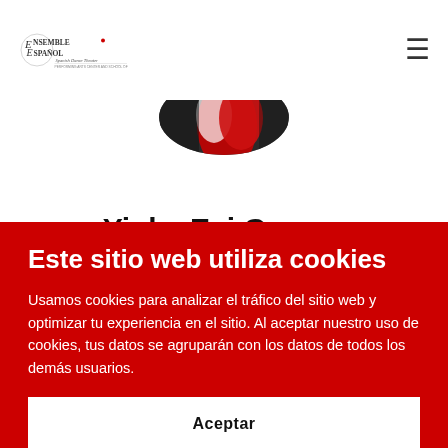Ensemble Español Spanish Dance Theater
[Figure (photo): Circular cropped photo showing a dancer in red and white costume]
Yinka Esi Graves
is a Flamenco dancer. Born in London to Ghanaian and Jamaican parents, Yinka started taking dance classes at
Este sitio web utiliza cookies
Usamos cookies para analizar el tráfico del sitio web y optimizar tu experiencia en el sitio. Al aceptar nuestro uso de cookies, tus datos se agruparán con los datos de todos los demás usuarios.
Aceptar